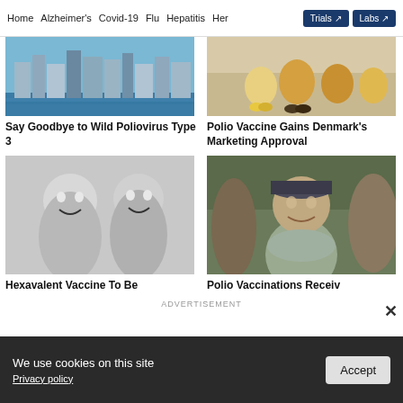Home  Alzheimer's  Covid-19  Flu  Hepatitis  Her  Trials  Labs
[Figure (photo): City skyline with modern buildings reflected on water]
Say Goodbye to Wild Poliovirus Type 3
[Figure (photo): People crouching on sandy ground outdoors]
Polio Vaccine Gains Denmark's Marketing Approval
[Figure (photo): Two young boys laughing in black and white photo]
Hexavalent Vaccine To Be
[Figure (photo): Young boy with cap smiling, surrounded by people outdoors]
Polio Vaccinations Receiv
ADVERTISEMENT
We use cookies on this site
Privacy policy
Accept